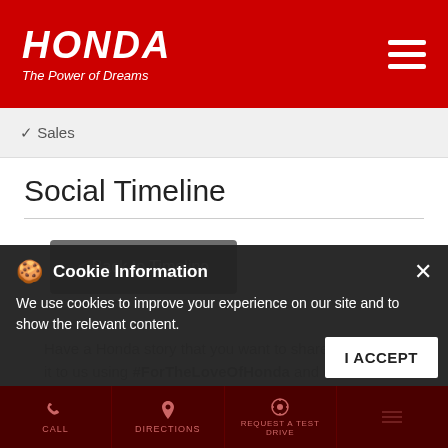HONDA – The Power of Dreams
✓ Sales
Social Timeline
< Back to Timeline
Have a Honda story that you want to share? Send it to us using #ForTheLoveOfHonda and get fe...
Cookie Information
We use cookies to improve your experience on our site and to show the relevant content.
CALL | DIRECTIONS | REQUEST A TEST DRIVE